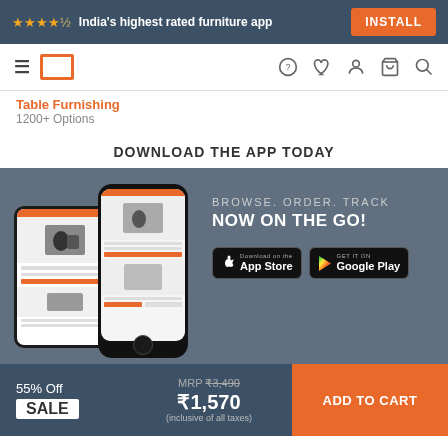★★★★☆ India's highest rated furniture app  INSTALL
[Figure (screenshot): Navigation bar with hamburger menu, square logo, and icons for help, wishlist, account, cart, and search]
Table Furnishing
1200+ Options
DOWNLOAD THE APP TODAY
[Figure (screenshot): App promotion banner with two phone mockups showing furniture app screens on left, and text BROWSE. ORDER. TRACK NOW ON THE GO! with App Store and Google Play download buttons on right]
55% Off
SALE
MRP ₹3,490
₹1,570
(inclusive of all taxes)
ADD TO CART